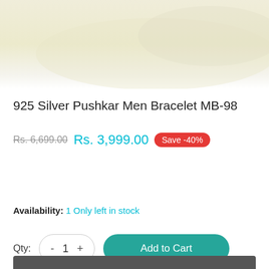[Figure (photo): Product image area showing a pale yellow/cream background with a jewellery store logo 'PS JEWELLERY - Quality For Generations' in the top left corner]
925 Silver Pushkar Men Bracelet MB-98
Rs. 6,699.00  Rs. 3,999.00  Save -40%
Availability: 1 Only left in stock
Qty: - 1 +  Add to Cart